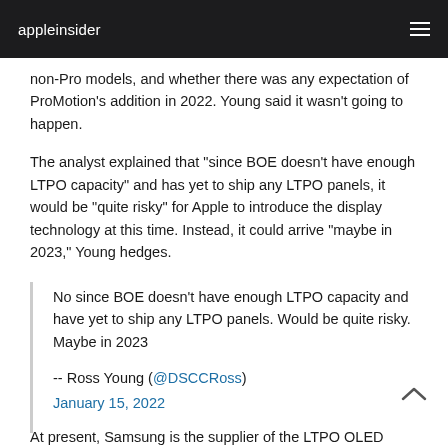appleinsider
non-Pro models, and whether there was any expectation of ProMotion's addition in 2022. Young said it wasn't going to happen.
The analyst explained that "since BOE doesn't have enough LTPO capacity" and has yet to ship any LTPO panels, it would be "quite risky" for Apple to introduce the display technology at this time. Instead, it could arrive "maybe in 2023," Young hedges.
No since BOE doesn't have enough LTPO capacity and have yet to ship any LTPO panels. Would be quite risky. Maybe in 2023

-- Ross Young (@DSCCRoss)
January 15, 2022
At present, Samsung is the supplier of the LTPO OLED